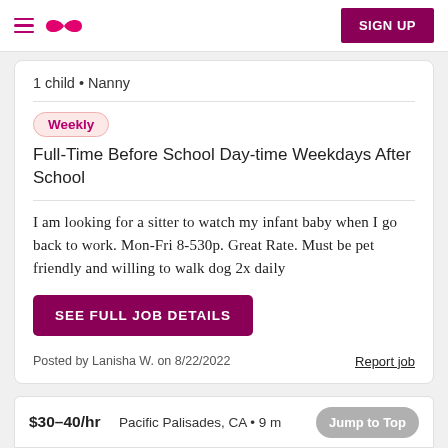SIGN UP
1 child • Nanny
Weekly
Full-Time Before School Day-time Weekdays After School
I am looking for a sitter to watch my infant baby when I go back to work. Mon-Fri 8-530p. Great Rate. Must be pet friendly and willing to walk dog 2x daily
SEE FULL JOB DETAILS
Posted by Lanisha W. on 8/22/2022
Report job
$30–40/hr   Pacific Palisades, CA • 9 m...   Jump to Top